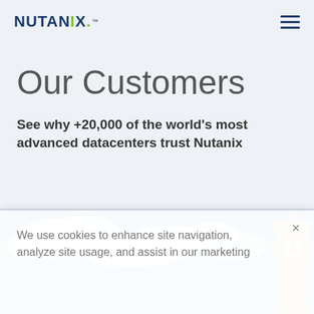NUTANIX
Our Customers
See why +20,000 of the world's most advanced datacenters trust Nutanix
[Figure (photo): Blue sky with clouds and a clock tower building visible at the right side]
We use cookies to enhance site navigation, analyze site usage, and assist in our marketing